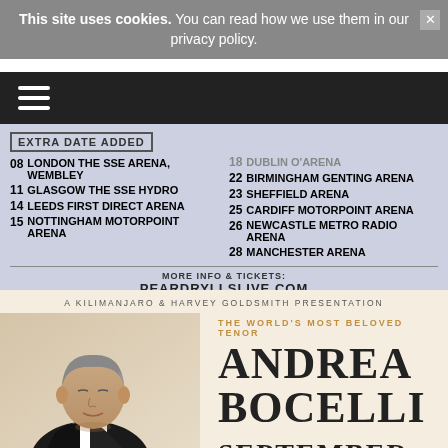This site uses cookies. You can read how we use them in our privacy policy.
[Figure (screenshot): Navigation bar with hamburger menu icon on dark background]
| Date | Venue |
| --- | --- |
| 08 | LONDON THE SSE ARENA, WEMBLEY |
| 11 | GLASGOW THE SSE HYDRO |
| 14 | LEEDS FIRST DIRECT ARENA |
| 15 | NOTTINGHAM MOTORPOINT ARENA |
| 18 | DUBLIN O'ARENA |
| 22 | BIRMINGHAM GENTING ARENA |
| 23 | SHEFFIELD ARENA |
| 25 | CARDIFF MOTORPOINT ARENA |
| 26 | NEWCASTLE METRO RADIO ARENA |
| 28 | MANCHESTER ARENA |
MORE INFO & TICKETS: PEARDRYLLSLIVE.COM
A KILIMANJARO & HARVEY GOLDSMITH PRESENTATION
THE WORLD'S MOST BELOVED TENOR
ANDREA BOCELLI
SEPTEMBER